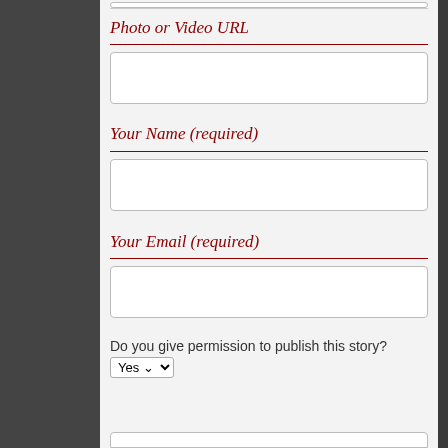Photo or Video URL
Your Name (required)
Your Email (required)
Do you give permission to publish this story? Yes